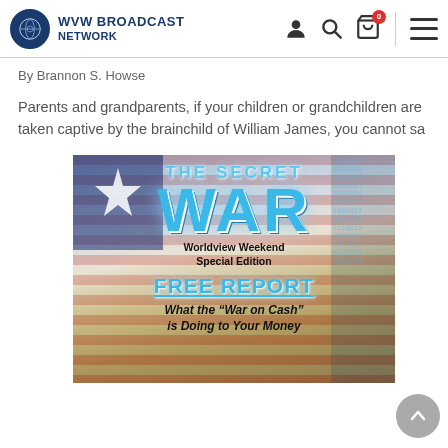WVW BROADCAST NETWORK
By Brannon S. Howse
Parents and grandparents, if your children or grandchildren are taken captive by the brainchild of William James, you cannot sa
[Figure (photo): Book/report cover image for 'The Secret War' - Worldview Weekend Special Edition - FREE REPORT: What the "War on Cash" is Doing to Your Money, featuring large blue text on an American flag background with money imagery]